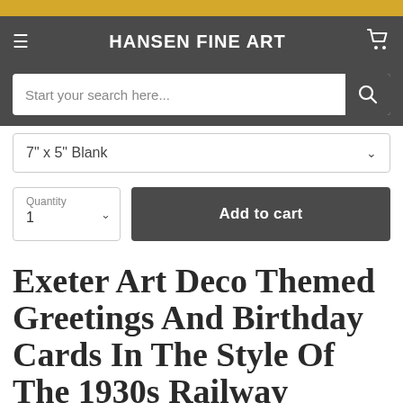HANSEN FINE ART
Start your search here...
7" x 5" Blank
Quantity 1
Add to cart
Exeter Art Deco Themed Greetings and Birthday Cards in the style of the 1930s Railway Posters by